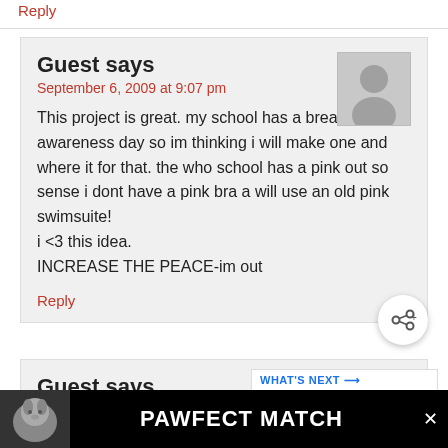Reply
Guest says
September 6, 2009 at 9:07 pm
This project is great. my school has a breast cancer awareness day so im thinking i will make one and where it for that. the who school has a pink out so sense i dont have a pink bra a will use an old pink swimsuite!
i <3 this idea.
INCREASE THE PEACE-im out
Reply
Guest says
September 5, 2009 at 3:06 pm
very creative, not sure if id use one myself cause
[Figure (other): PAWFECT MATCH advertisement banner with dog image at bottom of page]
[Figure (other): WHAT'S NEXT promo box showing Halloween Coat Hanger... article with thumbnail]